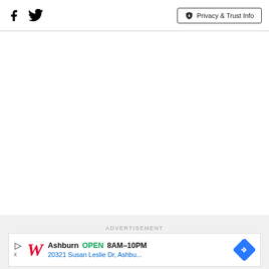Facebook icon | Twitter icon | Privacy & Trust Info
[Figure (other): Scroll to top button with upward chevron arrow]
ADVERTISEMENT
[Figure (other): Walgreens advertisement banner: Ashburn OPEN 8AM-10PM, 20321 Susan Leslie Dr, Ashbu... with Walgreens W logo and navigation diamond icon]